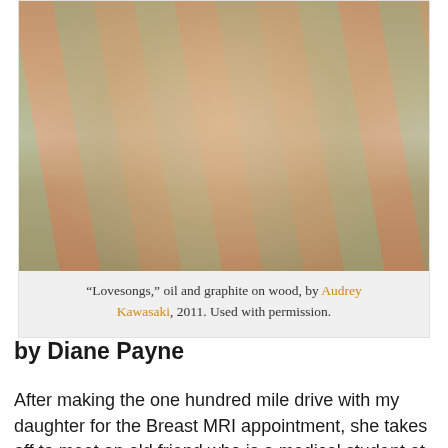[Figure (illustration): Painting titled 'Lovesongs,' oil and graphite on wood, by Audrey Kawasaki, 2011. A nude female figure with a long braided hair surrounded by flowing wavy forms against a decorative botanical background in muted greens, reds, and earth tones.]
“Lovesongs,” oil and graphite on wood, by Audrey Kawasaki, 2011. Used with permission.
by Diane Payne
After making the one hundred mile drive with my daughter for the Breast MRI appointment, she takes off to meet an old friend who is a medical student at the hospital. “Oh, no, is this going to be a Grey’s Anatomy booty call?” She